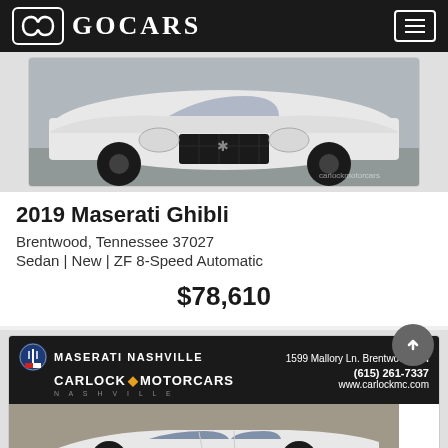GOCARS
[Figure (photo): Front view of white 2019 Maserati Ghibli with black wheels on pavement]
2019 Maserati Ghibli
Brentwood, Tennessee 37027
Sedan | New | ZF 8-Speed Automatic
$78,610
[Figure (photo): Maserati Nashville / Carlock Motorcars Nashville dealer card with logo, address 1599 Mallory Ln. Brentwood, TN (615) 261-7337 www.carlockmc.com and white Maserati Ghibli photo]